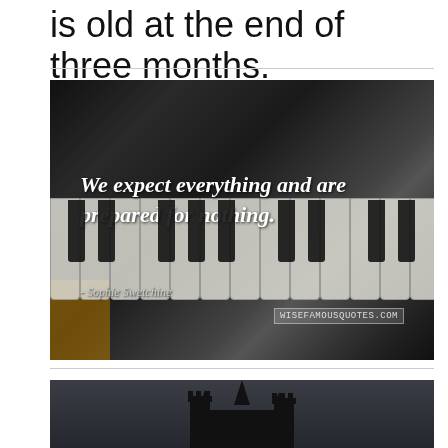is old at the end of three months.
[Figure (photo): Dark photograph of piano keys with overlaid italic quote text: 'We expect everything and are prepared for nothing.' attributed to Sophie Swetchine, with wisefamousquotes.com watermark]
We expect everything and are prepared for nothing.
[Figure (photo): Dark photograph showing a castle or church silhouette against a dark sky]